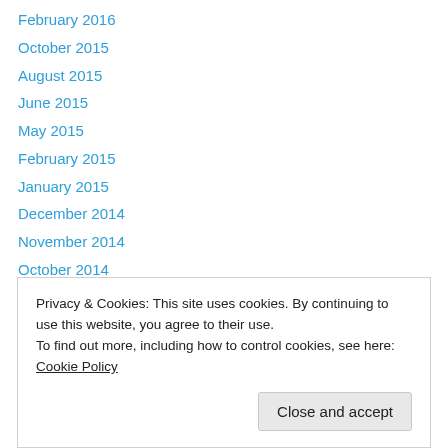February 2016
October 2015
August 2015
June 2015
May 2015
February 2015
January 2015
December 2014
November 2014
October 2014
May 2014
January 2014
September 2013
Privacy & Cookies: This site uses cookies. By continuing to use this website, you agree to their use.
To find out more, including how to control cookies, see here: Cookie Policy
Close and accept